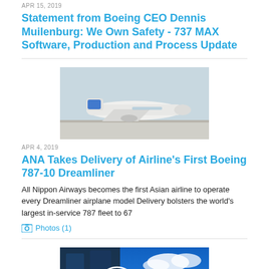Statement from Boeing CEO Dennis Muilenburg: We Own Safety - 737 MAX Software, Production and Process Update
[Figure (photo): ANA (All Nippon Airways) airplane on runway, white livery, side view]
APR 4, 2019
ANA Takes Delivery of Airline's First Boeing 787-10 Dreamliner
All Nippon Airways becomes the first Asian airline to operate every Dreamliner airplane model Delivery bolsters the world's largest in-service 787 fleet to 67
Photos (1)
[Figure (photo): Boeing logo on building facade against blue sky with clouds]